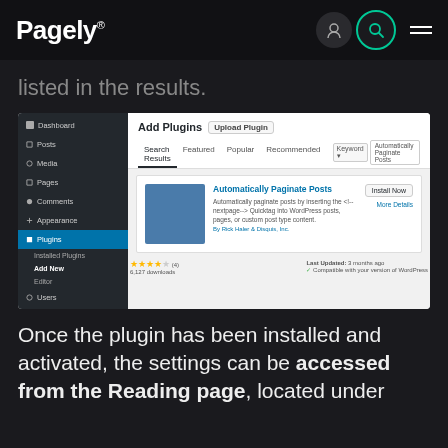Pagely®
listed in the results.
[Figure (screenshot): WordPress admin panel showing Add Plugins page with 'Automatically Paginate Posts' plugin search result. The sidebar shows Dashboard, Posts, Media, Pages, Comments, Appearance, Plugins (active), Users, Tools menu items. The main content shows Add Plugins header with Upload Plugin button, tabs for Search Results, Featured, Popular, Recommended, and a Keyword search field with 'Automatically Paginate Posts'. A plugin card shows the plugin titled 'Automatically Paginate Posts' with a blue icon, description, Install Now button, More Details link, 4-star rating, 6,127 downloads, Last Updated 3 months ago, and Compatible with your version of WordPress.]
Once the plugin has been installed and activated, the settings can be accessed from the Reading page, located under